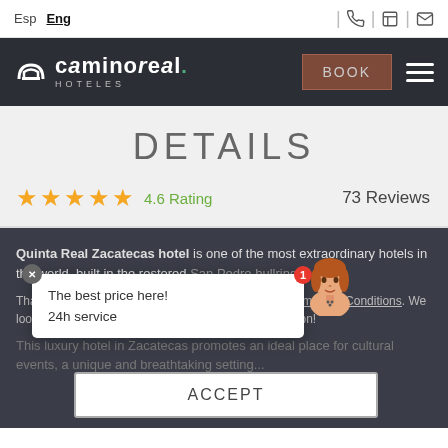Esp | Eng
[Figure (logo): Camino Real Hoteles logo with book button and hamburger menu on dark background]
DETAILS
★★★★★ 4.6 Rating    73 Reviews
Quinta Real Zacatecas hotel is one of the most extraordinary hotels in the world, built in the restored San Pedro bullring...
The best price here! 24h service
Thank you for visiting us online... Privacy Policy, & Terms and Conditions. We look forward to welcoming you at one of our hotels soon!
ACCEPT
This luxury hotel in Zacatecas promotes an ideal place for cultural events, a unique and breathtaking...